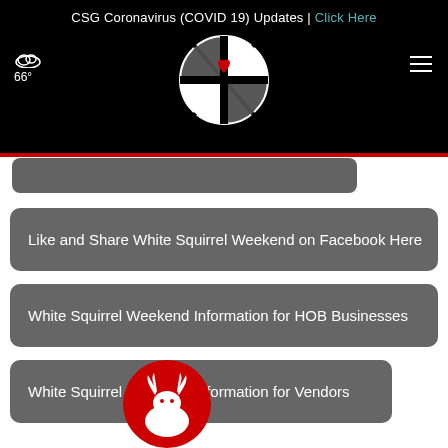CSG Coronavirus (COVID 19) Updates | Click Here
[Figure (logo): Globe logo with red heart icon, white and black segments on black background]
66°
Like and Share White Squirrel Weekend on Facebook Here
White Squirrel Weekend Information for HOB Businesses
White Squirrel Weekend Information for Vendors
[Figure (logo): Partial red circle with white moose/deer silhouette at bottom of page]